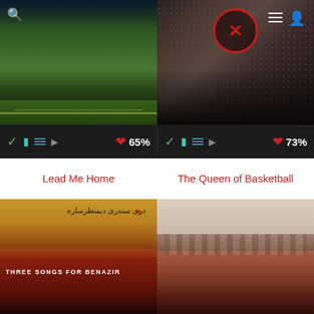[Figure (screenshot): App interface showing two documentary thumbnails at top: left is 'Lead Me Home' showing a nighttime outdoor scene with green field, right is 'The Queen of Basketball' showing a dark halftone image with a circular red logo overlay. Navigation bar at top with search icon, hamburger menu, and user icon.]
65%
73%
Lead Me Home
The Queen of Basketball
[Figure (screenshot): Bottom two documentary thumbnails: left is 'Three Songs for Benazir' showing Urdu script and bold white title text on a golden/red background with artistic figures, right is 'When We Were Bullies' showing sepia-toned group school photo with text overlay.]
THREE SONGS FOR BENAZIR
WHEN WE WERE BULLIES